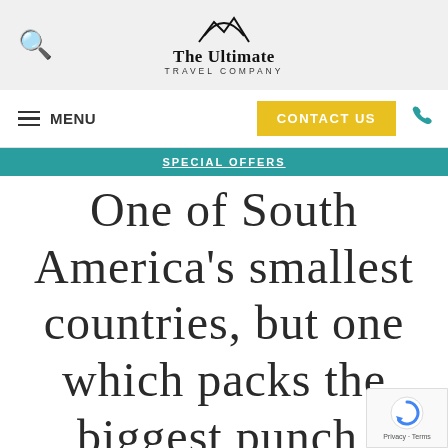The Ultimate Travel Company
MENU
CONTACT US
SPECIAL OFFERS
One of South America's smallest countries, but one which packs the biggest punch, Ecuador is the